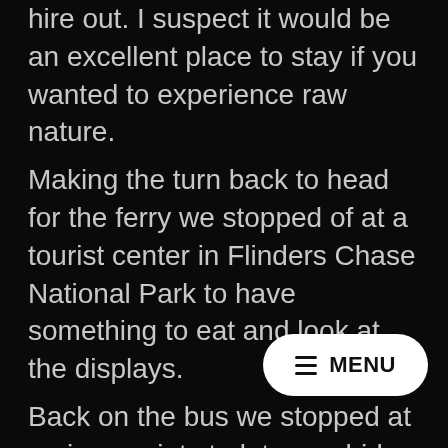hire out. I suspect it would be an excellent place to stay if you wanted to experience raw nature. Making the turn back to head for the ferry we stopped of at a tourist center in Flinders Chase National Park to have something to eat and look at the displays. Back on the bus we stopped at various points to let an echidna pass as well as a tiger snake. I don't think I'd experienced as much wild nature in such a short period of time and I understood the appeal of the island and the fact that it is so… We made a final stop at the airport to